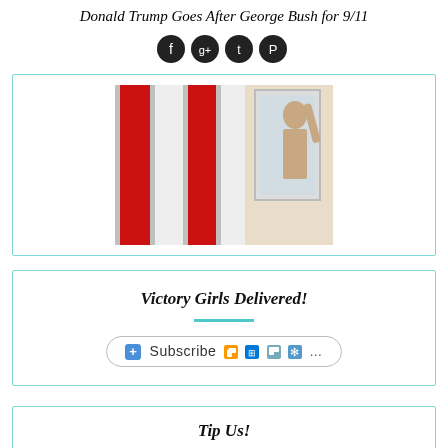Donald Trump Goes After George Bush for 9/11
[Figure (other): Social media share icons: Facebook, Google+, Twitter, Pinterest - four dark circular icons in a row]
[Figure (photo): Photo of an American flag with red and white stripes, partially visible, held or draped in an interior setting with a mirror or window visible]
Victory Girls Delivered!
[Figure (other): Subscribe widget bar with plus icon, RSS feed icon, and other subscription service icons, text reading 'Subscribe']
Tip Us!